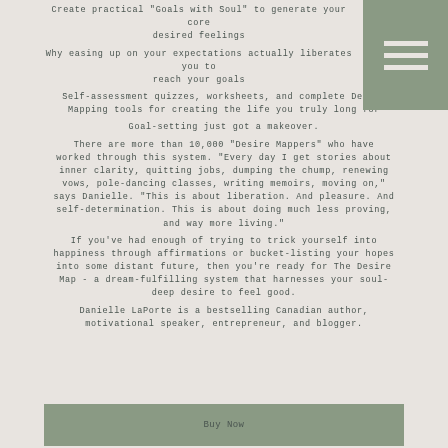Create practical "Goals with Soul" to generate your core desired feelings
Why easing up on your expectations actually liberates you to reach your goals
Self-assessment quizzes, worksheets, and complete Desire Mapping tools for creating the life you truly long for
Goal-setting just got a makeover.
There are more than 10,000 "Desire Mappers" who have worked through this system. "Every day I get stories about inner clarity, quitting jobs, dumping the chump, renewing vows, pole-dancing classes, writing memoirs, moving on," says Danielle. "This is about liberation. And pleasure. And self-determination. This is about doing much less proving, and way more living."
If you've had enough of trying to trick yourself into happiness through affirmations or bucket-listing your hopes into some distant future, then you're ready for The Desire Map - a dream-fulfilling system that harnesses your soul-deep desire to feel good.
Danielle LaPorte is a bestselling Canadian author, motivational speaker, entrepreneur, and blogger.
[Figure (other): Gray hamburger menu icon with three white horizontal lines on a sage green background, positioned in top-right corner]
Buy Now